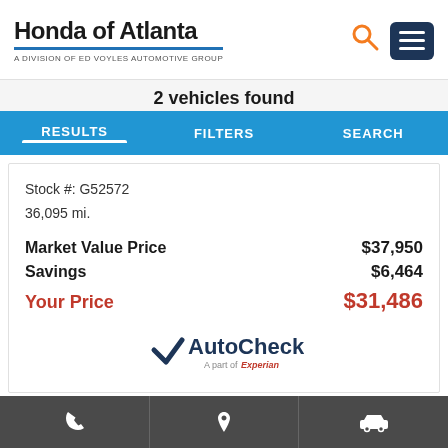Honda of Atlanta — A DIVISION OF ED VOYLES AUTOMOTIVE GROUP
2 vehicles found
RESULTS | FILTERS | SEARCH
Stock #: G52572
36,095 mi.
Market Value Price $37,950
Savings $6,464
Your Price $31,486
[Figure (logo): AutoCheck - A part of Experian logo]
GET E-PRICE
Footer navigation: phone, location, car icons